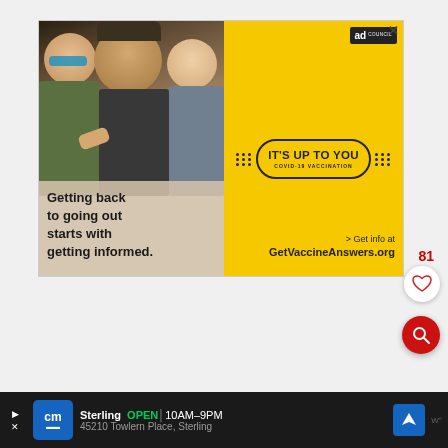[Figure (advertisement): Ad Council COVID-19 vaccination ad showing happy people at an outdoor event. Left side has a photo of smiling young adults with text 'Getting back to going out starts with getting informed.' Right yellow side has 'IT'S UP TO YOU COVID-19 VACCINATION' badge and '> Get info at GetVaccineAnswers.org'.]
81
[Figure (infographic): Heart/like button (white circle with red heart icon)]
[Figure (infographic): Search button (red circle with magnifying glass icon)]
[Figure (infographic): Bottom bar showing CityMall store info: Sterling OPEN 10AM-9PM, 45210 Towlern Place, Sterling, with CM logo, navigation arrow icon, and Waze icon]